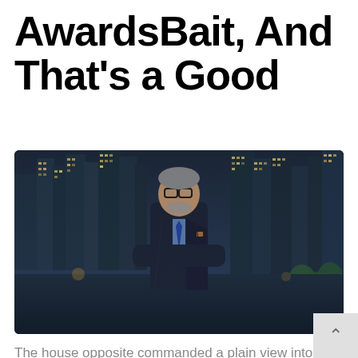AwardsBait, And That's a Good
[Figure (photo): Middle-aged man with glasses and grey beard wearing a dark suit with blue tie, arms crossed, standing in front of a city skyline with illuminated skyscrapers at dusk]
The house opposite commanded a plain view into the room, and observing more and more the indeco figure that Queequeg made, staving about with little